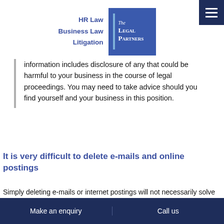[Figure (logo): The Legal Partners logo with HR Law, Business Law, Litigation text on left and blue box with The Legal Partners on right]
information includes disclosure of any that could be harmful to your business in the course of legal proceedings. You may need to take advice should you find yourself and your business in this position.
It is very difficult to delete e-mails and online postings
Simply deleting e-mails or internet postings will not necessarily solve the problem. Forensic IT equipment can still find supposedly “deleted” messages.
Make an enquiry   |   Call us